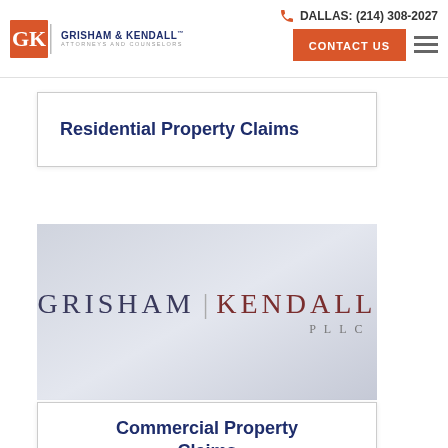DALLAS: (214) 308-2027 | CONTACT US
[Figure (logo): Grisham & Kendall attorneys and counselors logo with GK monogram icon]
Residential Property Claims
[Figure (logo): Grisham Kendall PLLC large logo on light grey gradient background]
Commercial Property Claims